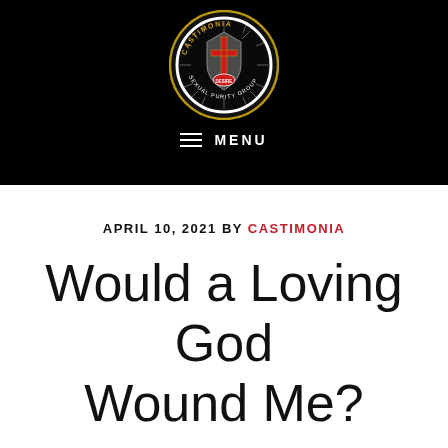[Figure (logo): Castimonia Sexual Purity Group circular logo with cross and knight imagery on black background]
MENU
APRIL 10, 2021 BY CASTIMONIA
Would a Loving God Wound Me?